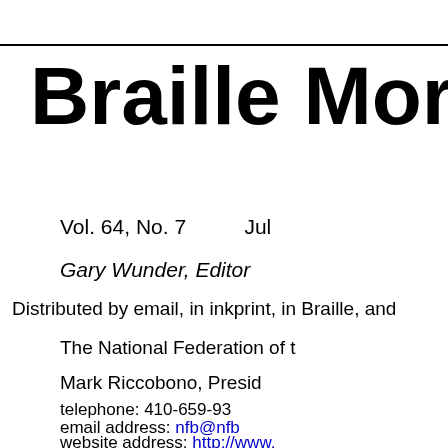Braille Mon
Vol. 64, No. 7          Jul
Gary Wunder, Editor
Distributed by email, in inkprint, in Braille, and
The National Federation of t
Mark Riccobono, Presid
telephone: 410-659-93
email address: nfb@nfb
website address: http://www.